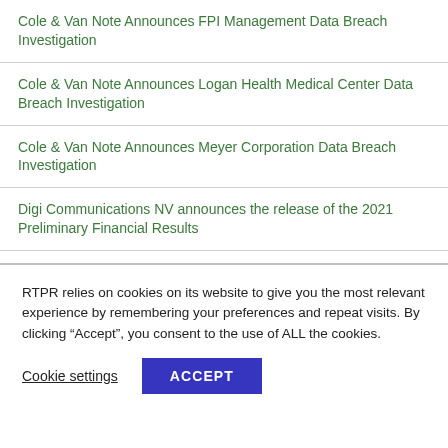Cole & Van Note Announces FPI Management Data Breach Investigation
Cole & Van Note Announces Logan Health Medical Center Data Breach Investigation
Cole & Van Note Announces Meyer Corporation Data Breach Investigation
Digi Communications NV announces the release of the 2021 Preliminary Financial Results
RTPR relies on cookies on its website to give you the most relevant experience by remembering your preferences and repeat visits. By clicking “Accept”, you consent to the use of ALL the cookies.
Cookie settings
ACCEPT